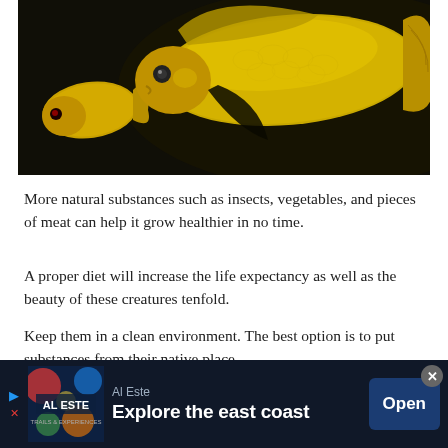[Figure (photo): Two yellow cichlid fish photographed against a dark background. One large yellow fish is prominent in the center-right, and a smaller yellow fish with a red eye is visible on the left side.]
More natural substances such as insects, vegetables, and pieces of meat can help it grow healthier in no time.
A proper diet will increase the life expectancy as well as the beauty of these creatures tenfold.
Keep them in a clean environment. The best option is to put substances from their native place.
However, this can become too expensive, and you may have to rely on the traditional, homegrown methods to get by
[Figure (other): Advertisement banner for 'Al Este' app. Shows the Al Este logo on dark background with text 'Al Este' and tagline 'Explore the east coast' with an 'Open' button.]